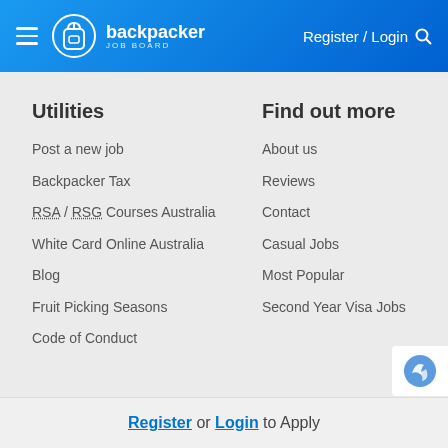backpacker JOB BOARD — Register / Login
Utilities
Post a new job
Backpacker Tax
RSA / RSG Courses Australia
White Card Online Australia
Blog
Fruit Picking Seasons
Code of Conduct
Find out more
About us
Reviews
Contact
Casual Jobs
Most Popular
Second Year Visa Jobs
Register or Login to Apply